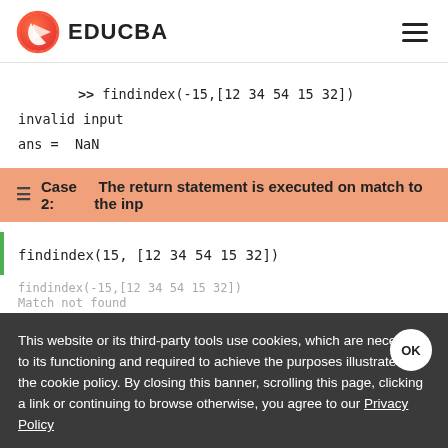EDUCBA
>> findindex(-15,[12 34 54 15 32])
invalid input
ans =  NaN
Case 2: The return statement is executed on match to the inp
findindex(15, [12 34 54 15 32])
This website or its third-party tools use cookies, which are necessary to its functioning and required to achieve the purposes illustrated in the cookie policy. By closing this banner, scrolling this page, clicking a link or continuing to browse otherwise, you agree to our Privacy Policy
findindex(-15,[12 34 54 15 32])
Match not found